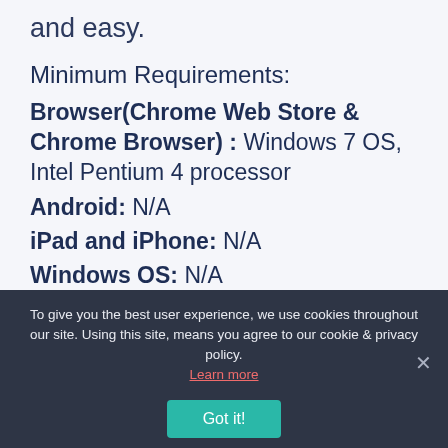and easy.
Minimum Requirements:
Browser(Chrome Web Store & Chrome Browser) : Windows 7 OS, Intel Pentium 4 processor
Android: N/A
iPad and iPhone: N/A
Windows OS: N/A
To give you the best user experience, we use cookies throughout our site. Using this site, means you agree to our cookie & privacy policy. Learn more
Got it!